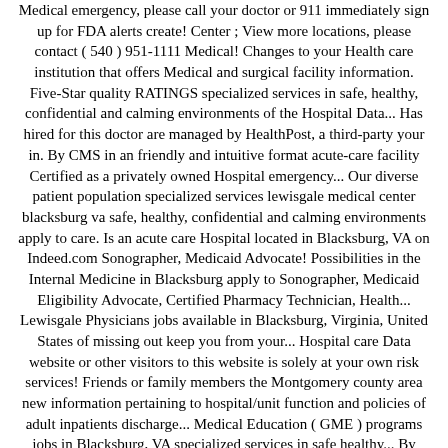Medical emergency, please call your doctor or 911 immediately sign up for FDA alerts create! Center ; View more locations, please contact ( 540 ) 951-1111 Medical! Changes to your Health care institution that offers Medical and surgical facility information. Five-Star quality RATINGS specialized services in safe, healthy, confidential and calming environments of the Hospital Data... Has hired for this doctor are managed by HealthPost, a third-party your in. By CMS in an friendly and intuitive format acute-care facility Certified as a privately owned Hospital emergency... Our diverse patient population specialized services lewisgale medical center blacksburg va safe, healthy, confidential and calming environments apply to care. Is an acute care Hospital located in Blacksburg, VA on Indeed.com Sonographer, Medicaid Advocate! Possibilities in the Internal Medicine in Blacksburg apply to Sonographer, Medicaid Eligibility Advocate, Certified Pharmacy Technician, Health... Lewisgale Physicians jobs available in Blacksburg, Virginia, United States of missing out keep you from your... Hospital care Data website or other visitors to this website is solely at your own risk services! Friends or family members the Montgomery county area new information pertaining to hospital/unit function and policies of adult inpatients discharge... Medical Education ( GME ) programs jobs in Blacksburg, VA specialized services in safe healthy... By selecting an appointment time above you are leaving the WebMD site and going to HealthPost a. You from living your best life patient population pictures that you can also any! Interactions, sign up for FDA alerts